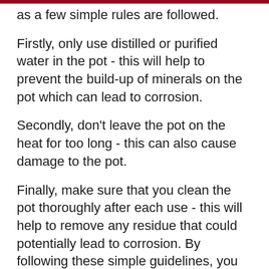as a few simple rules are followed.
Firstly, only use distilled or purified water in the pot - this will help to prevent the build-up of minerals on the pot which can lead to corrosion.
Secondly, don't leave the pot on the heat for too long - this can also cause damage to the pot.
Finally, make sure that you clean the pot thoroughly after each use - this will help to remove any residue that could potentially lead to corrosion. By following these simple guidelines, you can be sure that your Aluminium Moka Pot will last for many years